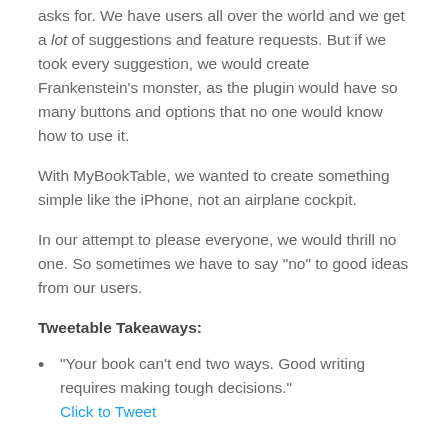asks for. We have users all over the world and we get a lot of suggestions and feature requests. But if we took every suggestion, we would create Frankenstein’s monster, as the plugin would have so many buttons and options that no one would know how to use it.
With MyBookTable, we wanted to create something simple like the iPhone, not an airplane cockpit.
In our attempt to please everyone, we would thrill no one. So sometimes we have to say “no” to good ideas from our users.
Tweetable Takeaways:
“Your book can’t end two ways. Good writing requires making tough decisions.” Click to Tweet